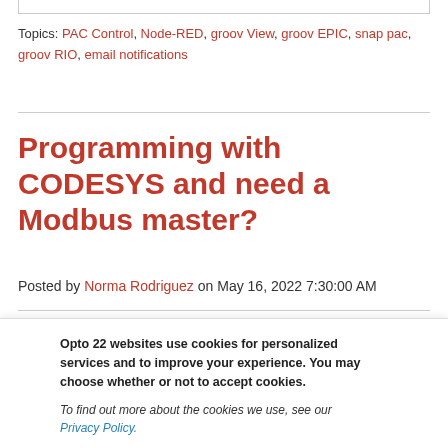Topics: PAC Control, Node-RED, groov View, groov EPIC, snap pac, groov RIO, email notifications
Programming with CODESYS and need a Modbus master?
Posted by Norma Rodriguez on May 16, 2022 7:30:00 AM
Opto 22 websites use cookies for personalized services and to improve your experience. You may choose whether or not to accept cookies.
To find out more about the cookies we use, see our Privacy Policy.